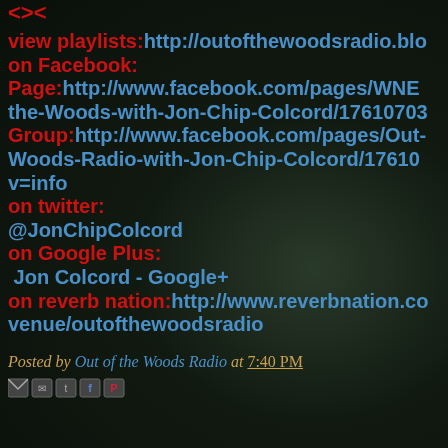[Figure (logo): Red decorative logo/symbol at top]
view playlists: http://outofthewoodsradio.blo...
on Facebook:
Page: http://www.facebook.com/pages/WNEC...-the-Woods-with-Jon-Chip-Colcord/17610703...
Group: http://www.facebook.com/pages/Out--Woods-Radio-with-Jon-Chip-Colcord/17610... v=info
on twitter:
@JonChipColcord
on Google Plus:
Jon Colcord - Google+
on reverb nation: http://www.reverbnation.co... venue/outofthewoodsradio
Posted by Out of the Woods Radio at 7:40 PM